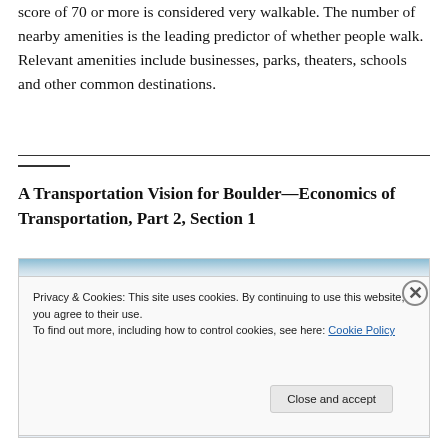score of 70 or more is considered very walkable. The number of nearby amenities is the leading predictor of whether people walk. Relevant amenities include businesses, parks, theaters, schools and other common destinations.
A Transportation Vision for Boulder—Economics of Transportation, Part 2, Section 1
[Figure (screenshot): Screenshot of a webpage with a cookie consent overlay popup. The popup reads: 'Privacy & Cookies: This site uses cookies. By continuing to use this website, you agree to their use. To find out more, including how to control cookies, see here: Cookie Policy' with a 'Close and accept' button.]